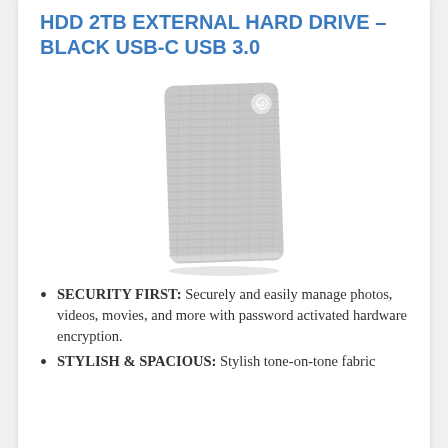HDD 2TB EXTERNAL HARD DRIVE – BLACK USB-C USB 3.0
[Figure (photo): Seagate external hard drive in silver/white tone-on-tone fabric design, shown standing upright with Seagate logo visible on top-right corner]
SECURITY FIRST: Securely and easily manage photos, videos, movies, and more with password activated hardware encryption.
STYLISH & SPACIOUS: Stylish tone-on-tone fabric